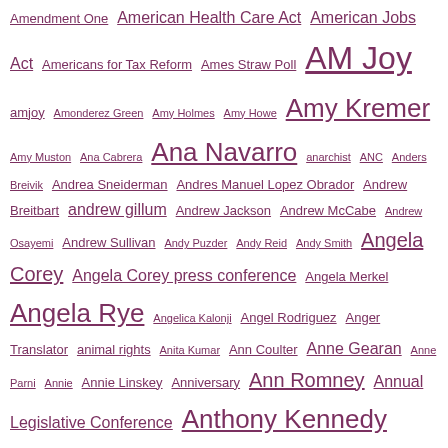Amendment One  American Health Care Act  American Jobs Act  Americans for Tax Reform  Ames Straw Poll  AM Joy  amjoy  Amonderez Green  Amy Holmes  Amy Howe  Amy Kremer  Amy Muston  Ana Cabrera  Ana Navarro  anarchist  ANC  Anders Breivik  Andrea Sneiderman  Andres Manuel Lopez Obrador  Andrew Breitbart  andrew gillum  Andrew Jackson  Andrew McCabe  Andrew Osayemi  Andrew Sullivan  Andy Puzder  Andy Reid  Andy Smith  Angela Corey  Angela Corey press conference  Angela Merkel  Angela Rye  Angelica Kalonji  Angel Rodriguez  Anger Translator  animal rights  Anita Kumar  Ann Coulter  Anne Gearan  Anne Parni  Annie  Annie Linskey  Anniversary  Ann Romney  Annual Legislative Conference  Anthony Kennedy  Anthony Scaramucci  Anthony Weiner  Anthony Williams  anti-Semitism  anti-vax  Antoine Dodson  Anton Gunn  Antonin Scalia  Antonio French  AP  aparteid  apology  app  Applebees  approval rating  April Ryan  Arak  Archie Parnell  Ari Berman  Ariel Castro  Ari Emanuel  Ari Fleischer  Ari Melber  Arista Records  Arizona  Arkansas  Arlene Johnson  Armani  Army  Arnold Schwarzenegger  Arrested Development  art  Artur Davis  arya stark  Asa Hutchinson  Ashleigh Banfield  Ashley Bell  Ashley Judd  Ashley Parker